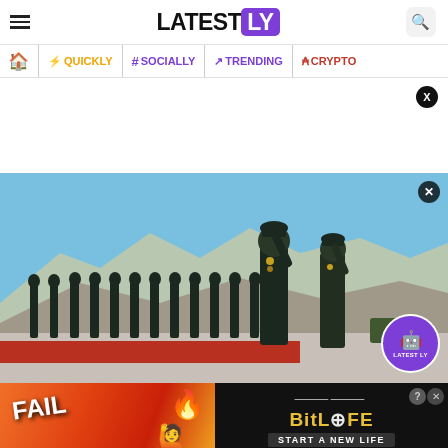LATESTLY
⌂ | ⚡ QUICKLY | # SOCIALLY | ↗ TRENDING | ₿ CRYPTO
[Figure (photo): Soldiers in military uniforms saluting in a line on a red carpet, outdoors with mountains and blue sky in background. LatestLY watermark badge visible.]
[Figure (photo): Advertisement banner for BitLife mobile game with orange/fire background on left showing FAIL text, and black background on right showing BitLife logo and START A NEW LIFE text]